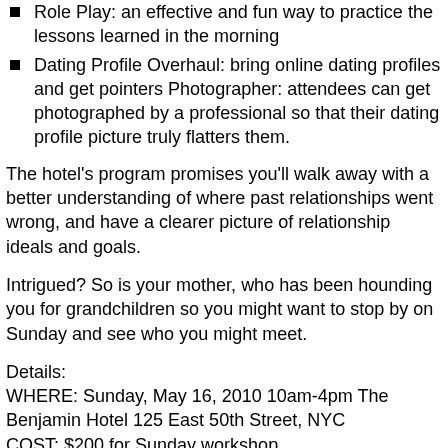Role Play: an effective and fun way to practice the lessons learned in the morning
Dating Profile Overhaul: bring online dating profiles and get pointers Photographer: attendees can get photographed by a professional so that their dating profile picture truly flatters them.
The hotel's program promises you'll walk away with a better understanding of where past relationships went wrong, and have a clearer picture of relationship ideals and goals.
Intrigued? So is your mother, who has been hounding you for grandchildren so you might want to stop by on Sunday and see who you might meet.
Details:
WHERE: Sunday, May 16, 2010 10am-4pm The Benjamin Hotel 125 East 50th Street, NYC
COST: $200 for Sunday workshop
REGISTER: Call (800) 617-7040 or email